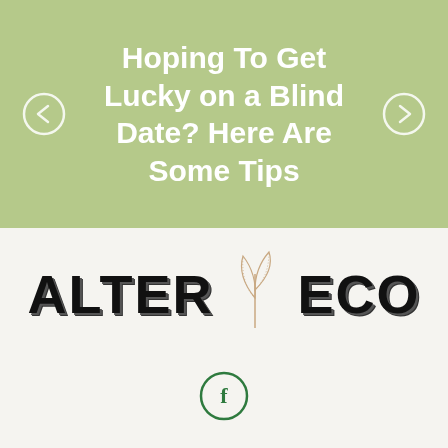Hoping To Get Lucky on a Blind Date? Here Are Some Tips
[Figure (logo): ALTER ECO brand logo with leaf illustration between the words]
[Figure (logo): Facebook circular icon button]